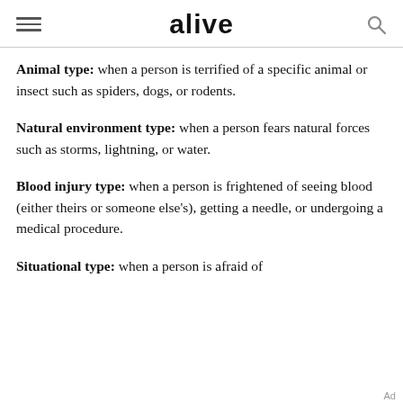alive
Animal type: when a person is terrified of a specific animal or insect such as spiders, dogs, or rodents.
Natural environment type: when a person fears natural forces such as storms, lightning, or water.
Blood injury type: when a person is frightened of seeing blood (either theirs or someone else's), getting a needle, or undergoing a medical procedure.
Situational type: when a person is afraid of